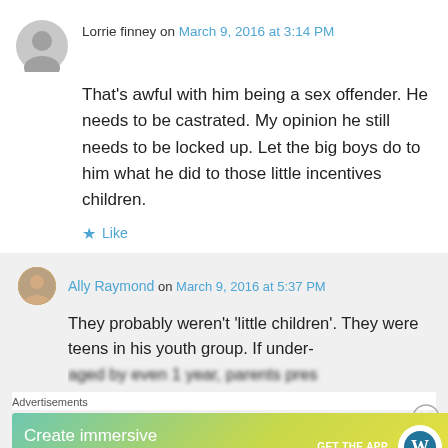Lorrie finney on March 9, 2016 at 3:14 PM
That's awful with him being a sex offender. He needs to be castrated. My opinion he still needs to be locked up. Let the big boys do to him what he did to those little incentives children.
Like
Ally Raymond on March 9, 2016 at 5:37 PM
They probably weren't 'little children'. They were teens in his youth group. If under-aged by even 1 year, parents pres...
Advertisements
[Figure (other): WordPress advertisement banner: 'Create immersive stories. GET THE APP' with WordPress logo on gradient background]